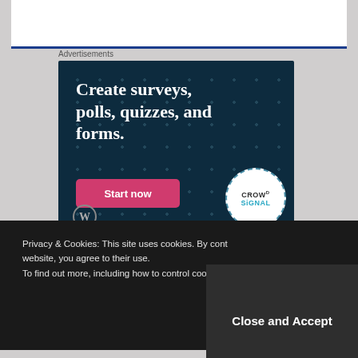Advertisements
[Figure (illustration): Advertisement for Crowdsignal: dark teal background with polka dot pattern, bold white serif text reading 'Create surveys, polls, quizzes, and forms.' with a pink 'Start now' button and Crowdsignal circular badge logo in the bottom right corner.]
Privacy & Cookies: This site uses cookies. By cont... website, you agree to their use. To find out more, including how to control cookies...
Close and Accept